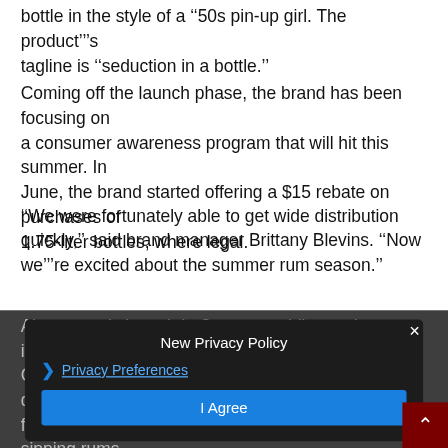bottle in the style of a '‘‘50s pin-up girl. The product’’’s tagline is '‘‘seduction in a bottle.'’’
Coming off the launch phase, the brand has been focusing on a consumer awareness program that will hit this summer. In June, the brand started offering a $15 rebate on purchases of 1.75-liter bottles, where legal.
'‘‘We were fortunately able to get wide distribution quickly,'’’ said brand manager Brittany Blevins. '‘‘Now we'’’’re excited about the summer rum season.'’’
Also recently launch is Cruzan—adding to the impressive Cruzan portfolio of rums, including a number of different flavor expressions as well as a few higher-end sipping rums. The brand declined in 200— hit sales of $38,000 9-liter cases, making it the sixth best-selling rum in the U.S.
[Figure (screenshot): A privacy policy modal overlay with dark background. Shows 'New Privacy Policy' title, a right-pointing chevron with 'Privacy Preferences' link, and an 'I Agree' blue button. An X close button is in the top right. A dark red scroll-to-top arrow button is visible in the bottom right corner.]